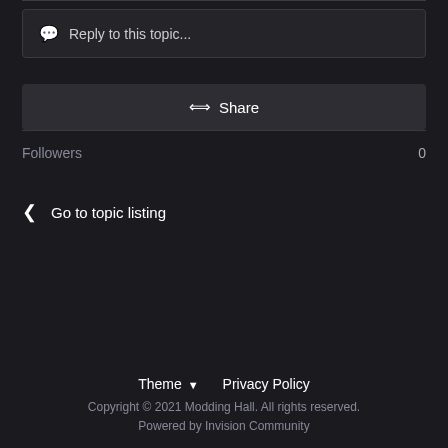Reply to this topic...
Share
Followers 0
Go to topic listing
Theme ▼  Privacy Policy
Copyright © 2021 Modding Hall. All rights reserved.
Powered by Invision Community